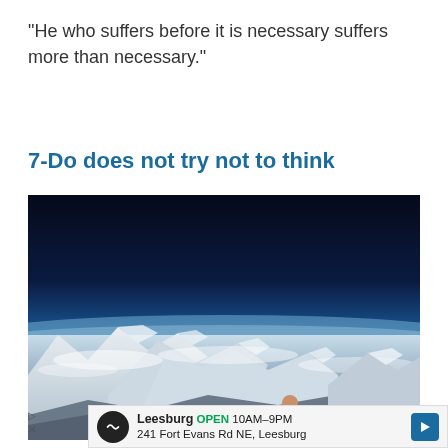“He who suffers before it is necessary suffers more than necessary.”
7-Do does not try not to think
[Figure (photo): A Buddhist monk in orange robes standing on a snow-capped mountain peak, looking out over a vast panorama of snow-covered mountains and clouds below, with a deep blue sky above.]
Leesburg OPEN 10AM–9PM 241 Fort Evans Rd NE, Leesburg